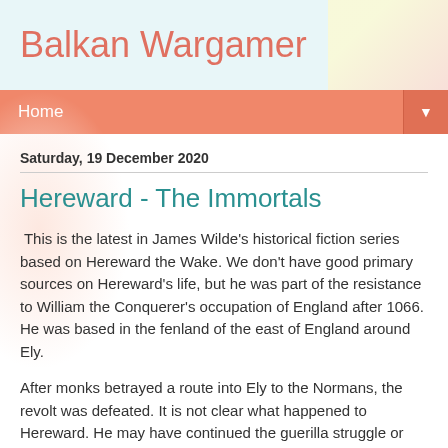Balkan Wargamer
Home
Saturday, 19 December 2020
Hereward - The Immortals
This is the latest in James Wilde's historical fiction series based on Hereward the Wake. We don't have good primary sources on Hereward's life, but he was part of the resistance to William the Conquerer's occupation of England after 1066. He was based in the fenland of the east of England around Ely.
After monks betrayed a route into Ely to the Normans, the revolt was defeated. It is not clear what happened to Hereward. He may have continued the guerilla struggle or